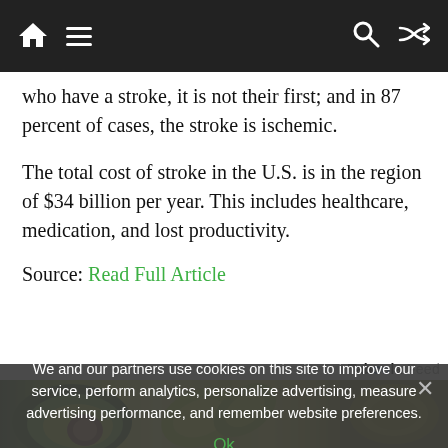Navigation bar with home, menu, search, shuffle icons
who have a stroke, it is not their first; and in 87 percent of cases, the stroke is ischemic.
The total cost of stroke in the U.S. is in the region of $34 billion per year. This includes healthcare, medication, and lost productivity.
Source: Read Full Article
[Figure (photo): Taboola Feed banner with food image showing avocados and sliced fruits/vegetables]
We and our partners use cookies on this site to improve our service, perform analytics, personalize advertising, measure advertising performance, and remember website preferences.
Ok